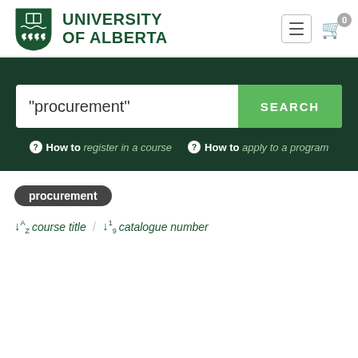[Figure (logo): University of Alberta shield logo in green]
UNIVERSITY OF ALBERTA
"procurement"
SEARCH
How to register in a course
How to apply to a program
procurement
course title / catalogue number